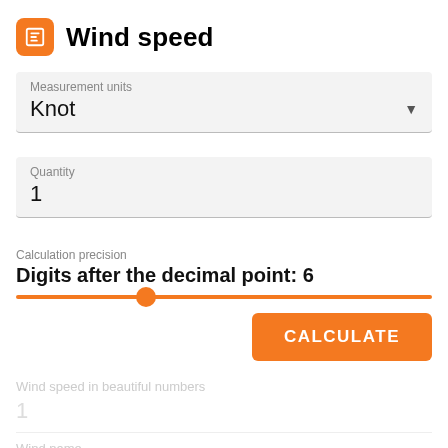Wind speed
Measurement units
Knot
Quantity
1
Calculation precision
Digits after the decimal point: 6
[Figure (other): Horizontal orange slider control with thumb positioned roughly 30% from left]
CALCULATE
Wind speed in beautiful numbers
1
Wind name